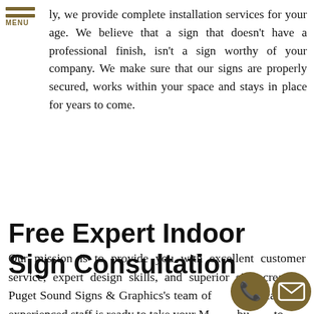MENU
ly, we provide complete installation services for your age. We believe that a sign that doesn't have a professional finish, isn't a sign worthy of your company. We make sure that our signs are properly secured, works within your space and stays in place for years to come.
Free Expert Indoor Sign Consultation
Our mission is to provide you with excellent customer service, expert design skills, and superior sign creation. Puget Sound Signs & Graphics's team of dedicated and experienced staff is ready to take your Mukilteo business to